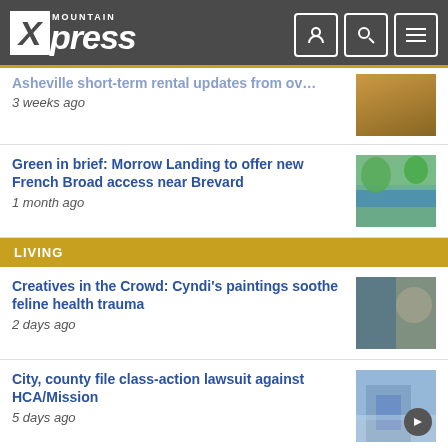Mountain Xpress
3 weeks ago
Green in brief: Morrow Landing to offer new French Broad access near Brevard
1 month ago
LIVING
Creatives in the Crowd: Cyndi's paintings soothe feline health trauma
2 days ago
City, county file class-action lawsuit against HCA/Mission
5 days ago
How much solar energy does local government produce?
2 weeks ago